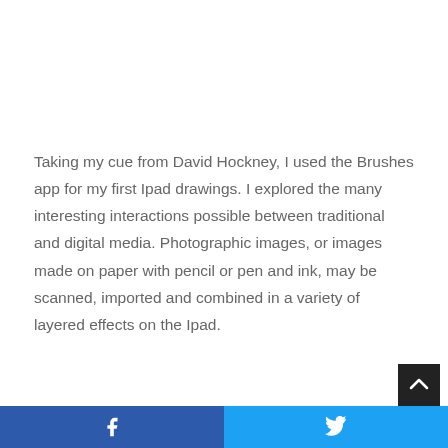Taking my cue from David Hockney, I used the Brushes app for my first Ipad drawings. I explored the many interesting interactions possible between traditional and digital media. Photographic images, or images made on paper with pencil or pen and ink, may be scanned, imported and combined in a variety of layered effects on the Ipad.
Facebook | Twitter